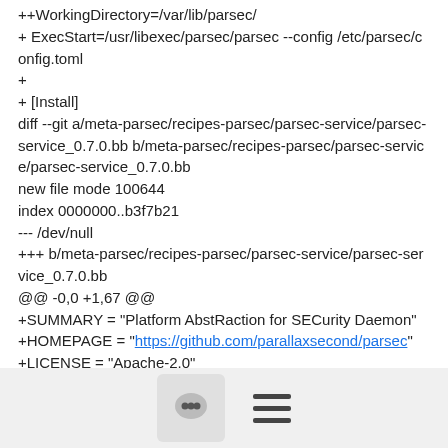++WorkingDirectory=/var/lib/parsec/
+ ExecStart=/usr/libexec/parsec/parsec --config /etc/parsec/config.toml
+
+ [Install]
diff --git a/meta-parsec/recipes-parsec/parsec-service/parsec-service_0.7.0.bb b/meta-parsec/recipes-parsec/parsec-service/parsec-service_0.7.0.bb
new file mode 100644
index 0000000..b3f7b21
--- /dev/null
+++ b/meta-parsec/recipes-parsec/parsec-service/parsec-service_0.7.0.bb
@@ -0,0 +1,67 @@
+SUMMARY = "Platform AbstRaction for SECurity Daemon"
+HOMEPAGE = "https://github.com/parallaxsecond/parsec"
+LICENSE = "Apache-2.0"
+
+inherit cargo
[Figure (other): Footer bar with a chat icon button and a hamburger menu icon]